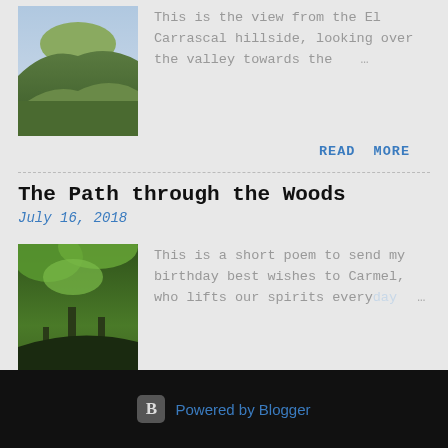[Figure (photo): Thumbnail photo of a hillside landscape with green hills and mountains in the background]
This is the view from the El Carrascal hillside, looking over the valley towards the …
READ MORE
The Path through the Woods
July 16, 2018
[Figure (photo): Thumbnail photo of a forest path with green foliage and trees]
This is a short poem to send my birthday best wishes to Carmel, who lifts our spirits everyday …
READ MORE
Powered by Blogger